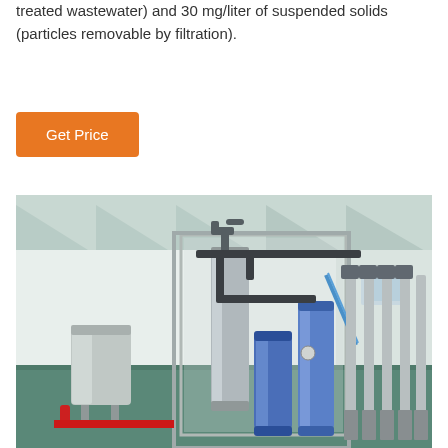treated wastewater) and 30 mg/liter of suspended solids (particles removable by filtration).
[Figure (other): Orange 'Get Price' button]
[Figure (photo): Industrial water treatment facility interior showing filtration and reverse osmosis equipment including blue filter cylinders, pipes, and multiple RO units lined up in a large hall with green floor and white ceiling beams.]